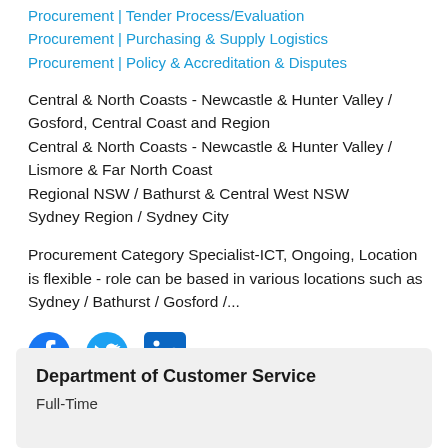Procurement | Tender Process/Evaluation
Procurement | Purchasing & Supply Logistics
Procurement | Policy & Accreditation & Disputes
Central & North Coasts - Newcastle & Hunter Valley / Gosford, Central Coast and Region
Central & North Coasts - Newcastle & Hunter Valley / Lismore & Far North Coast
Regional NSW / Bathurst & Central West NSW
Sydney Region / Sydney City
Procurement Category Specialist-ICT, Ongoing, Location is flexible - role can be based in various locations such as Sydney / Bathurst / Gosford /...
[Figure (infographic): Social media icons: Facebook (blue circle), Twitter (blue bird), LinkedIn (blue square)]
Department of Customer Service
Full-Time